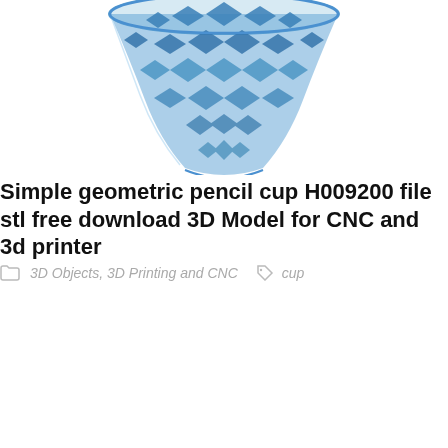[Figure (illustration): A blue geometric lattice pencil cup/holder rendered as a 3D model. The cup has a diamond/rhombus pattern mesh structure, wider at the top and narrowing toward the bottom, rendered in shades of blue against a white background.]
Simple geometric pencil cup H009200 file stl free download 3D Model for CNC and 3d printer
3D Objects, 3D Printing and CNC   cup